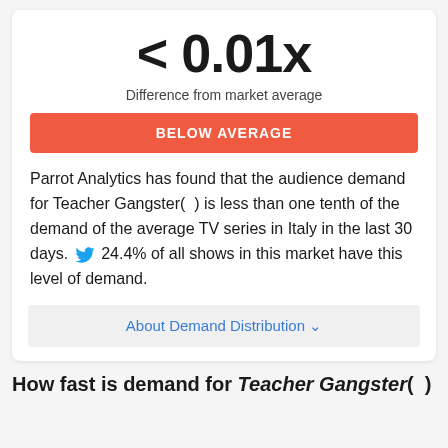< 0.01x
Difference from market average
BELOW AVERAGE
Parrot Analytics has found that the audience demand for Teacher Gangster( ) is less than one tenth of the demand of the average TV series in Italy in the last 30 days. 24.4% of all shows in this market have this level of demand.
About Demand Distribution ∨
How fast is demand for Teacher Gangster( )